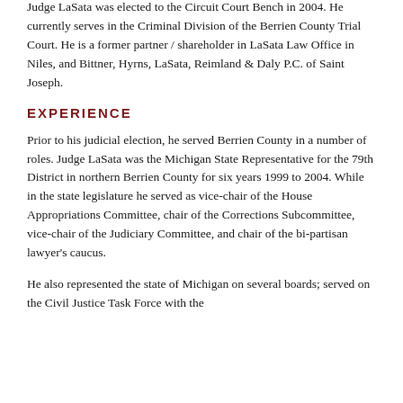Judge LaSata was elected to the Circuit Court Bench in 2004. He currently serves in the Criminal Division of the Berrien County Trial Court. He is a former partner / shareholder in LaSata Law Office in Niles, and Bittner, Hyrns, LaSata, Reimland & Daly P.C. of Saint Joseph.
EXPERIENCE
Prior to his judicial election, he served Berrien County in a number of roles. Judge LaSata was the Michigan State Representative for the 79th District in northern Berrien County for six years 1999 to 2004. While in the state legislature he served as vice-chair of the House Appropriations Committee, chair of the Corrections Subcommittee, vice-chair of the Judiciary Committee, and chair of the bi-partisan lawyer's caucus.
He also represented the state of Michigan on several boards; served on the Civil Justice Task Force with the